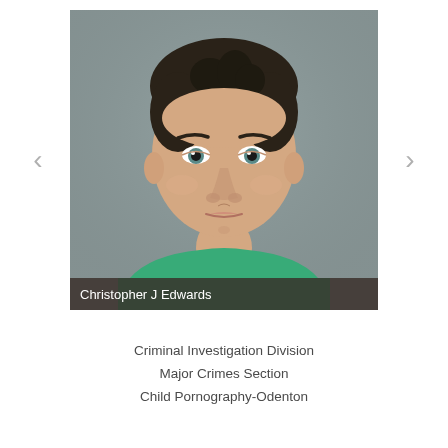[Figure (photo): Mugshot/booking photo of Christopher J Edwards, a young man with dark hair wearing a green shirt, against a gray background. Name overlay bar at bottom reads 'Christopher J Edwards'. Navigation arrows on left and right sides.]
Criminal Investigation Division
Major Crimes Section
Child Pornography-Odenton